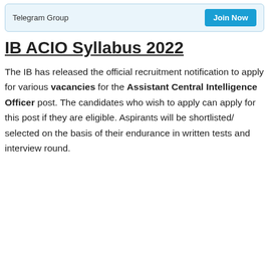[Figure (infographic): Banner box with 'Telegram Group' text on left and 'Join Now' blue button on right, light blue background with border]
IB ACIO Syllabus 2022
The IB has released the official recruitment notification to apply for various vacancies for the Assistant Central Intelligence Officer post. The candidates who wish to apply can apply for this post if they are eligible. Aspirants will be shortlisted/ selected on the basis of their endurance in written tests and interview round.